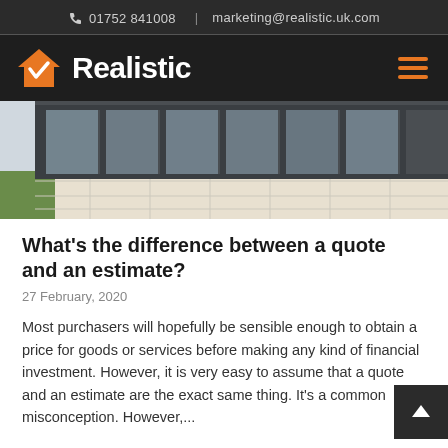01752 841008  |  marketing@realistic.uk.com
[Figure (logo): Realistic logo with orange house/checkmark icon and white bold text 'Realistic' on dark background, with orange hamburger menu icon on right]
[Figure (photo): Exterior photo of a modern house extension with large grey aluminium bifold/sliding glass doors and patio area with grass visible on left]
What's the difference between a quote and an estimate?
27 February, 2020
Most purchasers will hopefully be sensible enough to obtain a price for goods or services before making any kind of financial investment. However, it is very easy to assume that a quote and an estimate are the exact same thing. It's a common misconception. However,...